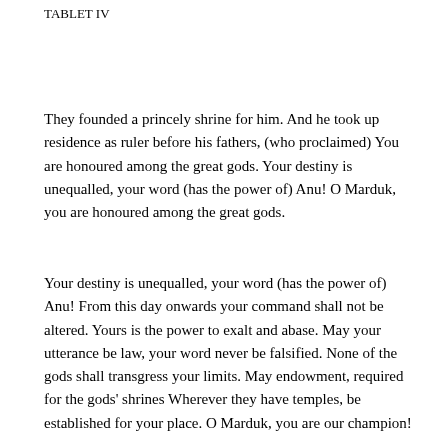TABLET IV
They founded a princely shrine for him. And he took up residence as ruler before his fathers, (who proclaimed) You are honoured among the great gods. Your destiny is unequalled, your word (has the power of) Anu! O Marduk, you are honoured among the great gods.
Your destiny is unequalled, your word (has the power of) Anu! From this day onwards your command shall not be altered. Yours is the power to exalt and abase. May your utterance be law, your word never be falsified. None of the gods shall transgress your limits. May endowment, required for the gods' shrines Wherever they have temples, be established for your place. O Marduk, you are our champion!
We hereby give you sovereignty over the whole universe. Sit in the assembly and your word shall be pre-eminent! May your weapons never miss (the mark), may they smash your enemies! O lord, spare the life of him who trusts in you, But drain the life of the god who has espoused evil!'
They set up in their midst one constellation, And then they addressed